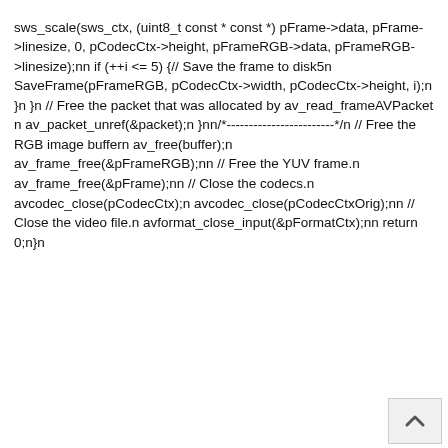sws_scale(sws_ctx, (uint8_t const * const *) pFrame->data, pFrame->linesize, 0, pCodecCtx->height, pFrameRGB->data, pFrameRGB->linesize);nn if (++i <= 5) {// Save the frame to diskâââ5ââââââân SaveFrame(pFrameRGB, pCodecCtx->width, pCodecCtx->height, i);n }n }n // Free the packet that was allocated by av_read_frameâââAVPacketââââââââân av_packet_unref(&packet);n }nn/*---------------ââââ---------*/n // Free the RGB image buffern av_free(buffer);n av_frame_free(&pFrameRGB);nn // Free the YUV frame.n av_frame_free(&pFrame);nn // Close the codecs.n avcodec_close(pCodecCtx);n avcodec_close(pCodecCtxOrig);nn // Close the video file.n avformat_close_input(&pFormatCtx);nn return 0;n}n